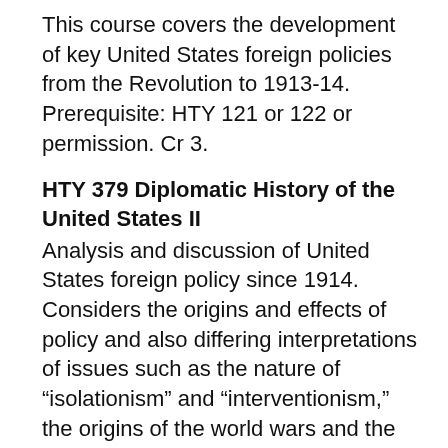This course covers the development of key United States foreign policies from the Revolution to 1913-14. Prerequisite: HTY 121 or 122 or permission. Cr 3.
HTY 379 Diplomatic History of the United States II
Analysis and discussion of United States foreign policy since 1914. Considers the origins and effects of policy and also differing interpretations of issues such as the nature of “isolationism” and “interventionism,” the origins of the world wars and the Cold War, the meaning of “Vietnam,” and the relative influence of economics and ideology in shaping policy and action. Prerequisite: HTY 123 or permission. Cr 3.
HTY 380 The 1960s
This course covers the development of the 1960s...